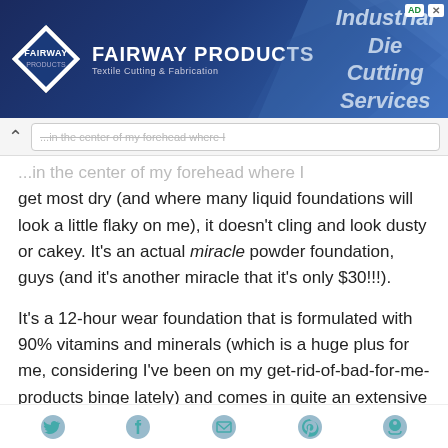[Figure (screenshot): Fairway Products advertisement banner with logo and 'Industrial Die Cutting Services' tagline on dark blue geometric background]
...in the center of my forehead where I get most dry (and where many liquid foundations will look a little flaky on me), it doesn't cling and look dusty or cakey. It's an actual miracle powder foundation, guys (and it's another miracle that it's only $30!!!).
It's a 12-hour wear foundation that is formulated with 90% vitamins and minerals (which is a huge plus for me, considering I've been on my get-rid-of-bad-for-me-products binge lately) and comes in quite an extensive 30-shade range (Dawn 02 is a
Twitter | Facebook | Email | Pinterest | Other social icons